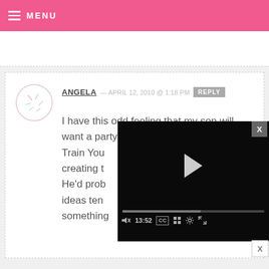MENU
[Figure (screenshot): Blog comment section showing user Angela's comment dated April 12, 2010 @ 1:18 PM with a reply button. Comment text: I have this odd feeling that my son will want a party this year with the How To Train You[r Dragon theme...] creating [...] He'd prob[ably love...] ideas ten[d to...] something[...]. A video player overlay is visible covering part of the comment, showing a black video screen with play button, progress bar at 13:52, and controls including mute, CC, grid, settings, and expand icons.]